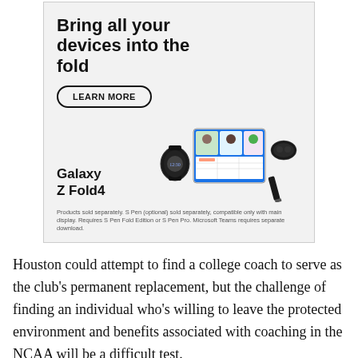[Figure (advertisement): Samsung Galaxy Z Fold4 advertisement. Header: 'Bring all your devices into the fold'. Button: 'LEARN MORE'. Shows Galaxy Z Fold4 branding with product images of a smartwatch, foldable phone with video call on screen, earbuds, and S Pen. Disclaimer text at bottom.]
Houston could attempt to find a college coach to serve as the club's permanent replacement, but the challenge of finding an individual who's willing to leave the protected environment and benefits associated with coaching in the NCAA will be a difficult test.
The last time that happened in the NWSL was in 2014 when as an expansion side the Dash pried Randy Waldrum away from a 15-year career at Notre Dame